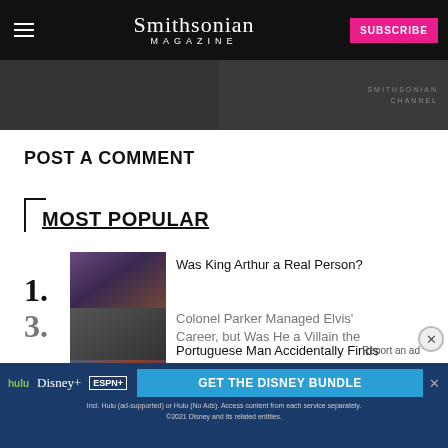Smithsonian Magazine | SUBSCRIBE
[Figure (photo): Dark image strip showing partial photo thumbnails]
POST A COMMENT
MOST POPULAR
1. Was King Arthur a Real Person?
2. Portuguese Man Accidentally Finds 82-Foot-Long Dinosaur in His Backyard
3. Colonel Parker Managed Elvis' Career, but Was He a Villain the...
[Figure (screenshot): Disney Bundle advertisement banner: hulu, Disney+, ESPN+ - GET THE DISNEY BUNDLE. Incl. Hulu (ad-supported) or Hulu (No Ads). Access content from each service separately. ©2021 Disney and its related entities.]